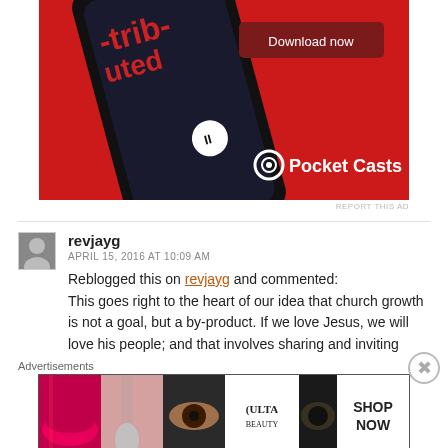[Figure (screenshot): Pocket Casts app advertisement on red background with smartphone image, 'Download now' button, and Pocket Casts logo with spiral icon]
REPORT THIS AD
revjayg
APRIL 15, 2016 AT 10:09 AM
Reblogged this on revjayg and commented:
This goes right to the heart of our idea that church growth is not a goal, but a by-product. If we love Jesus, we will love his people; and that involves sharing and inviting
Advertisements
[Figure (screenshot): ULTA beauty advertisement showing close-up images of lips, makeup brush, eye, ULTA logo, eye with dramatic makeup, and SHOP NOW button]
REPORT THIS AD